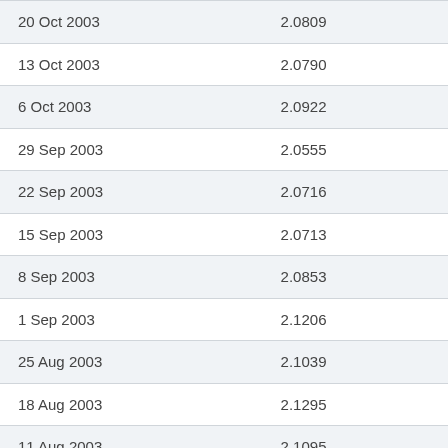| Date | Value |
| --- | --- |
| 20 Oct 2003 | 2.0809 |
| 13 Oct 2003 | 2.0790 |
| 6 Oct 2003 | 2.0922 |
| 29 Sep 2003 | 2.0555 |
| 22 Sep 2003 | 2.0716 |
| 15 Sep 2003 | 2.0713 |
| 8 Sep 2003 | 2.0853 |
| 1 Sep 2003 | 2.1206 |
| 25 Aug 2003 | 2.1039 |
| 18 Aug 2003 | 2.1295 |
| 11 Aug 2003 | 2.1095 |
| 4 Aug 2003 | 2.1088 |
| 28 Jul 2003 | 2.1047 |